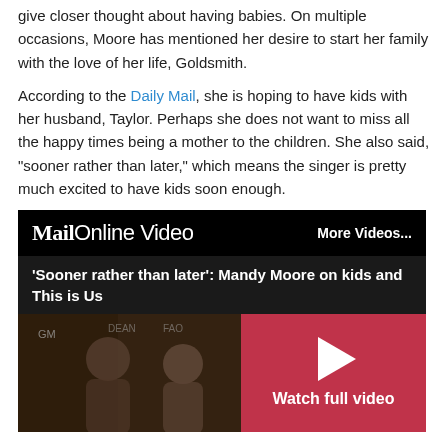give closer thought about having babies. On multiple occasions, Moore has mentioned her desire to start her family with the love of her life, Goldsmith.
According to the Daily Mail, she is hoping to have kids with her husband, Taylor. Perhaps she does not want to miss all the happy times being a mother to the children. She also said, "sooner rather than later," which means the singer is pretty much excited to have kids soon enough.
[Figure (screenshot): MailOnline Video embed with title 'Sooner rather than later': Mandy Moore on kids and This is Us, showing Watch full video button with pink/red background and play triangle]
Just like Mandy Moore, Taylor Goldsmith may also be excited to have the feeling of being a father for his children. But they may be taking some time before deciding to become parents. Each and everyone must be waiting eagerly to see Taylor Goldsmith and Mandy Moore's children.